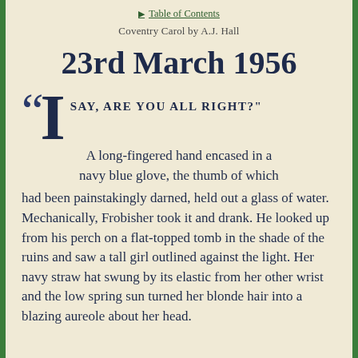▶ Table of Contents
Coventry Carol by A.J. Hall
23rd March 1956
“I SAY, ARE YOU ALL RIGHT?” A long-fingered hand encased in a navy blue glove, the thumb of which had been painstakingly darned, held out a glass of water. Mechanically, Frobisher took it and drank. He looked up from his perch on a flat-topped tomb in the shade of the ruins and saw a tall girl outlined against the light. Her navy straw hat swung by its elastic from her other wrist and the low spring sun turned her blonde hair into a blazing aureole about her head.